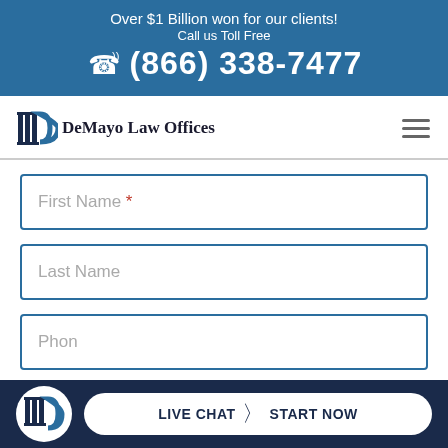Over $1 Billion won for our clients! Call us Toll Free (866) 338-7477
[Figure (logo): DeMayo Law Offices logo with column icon and crescent D shape]
DeMayo Law Offices
First Name *
Last Name
Phone
[Figure (logo): DeMayo Law Offices small circular logo in bottom bar]
LIVE CHAT | START NOW